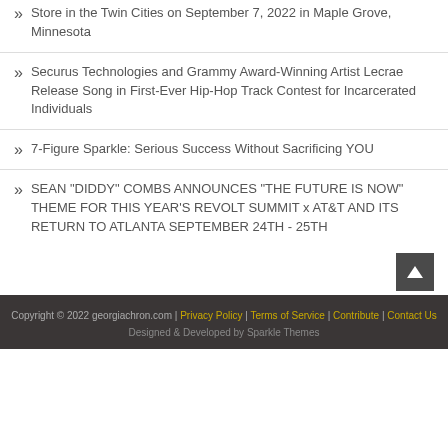Store in the Twin Cities on September 7, 2022 in Maple Grove, Minnesota
Securus Technologies and Grammy Award-Winning Artist Lecrae Release Song in First-Ever Hip-Hop Track Contest for Incarcerated Individuals
7-Figure Sparkle: Serious Success Without Sacrificing YOU
SEAN "DIDDY" COMBS ANNOUNCES "THE FUTURE IS NOW" THEME FOR THIS YEAR'S REVOLT SUMMIT x AT&T AND ITS RETURN TO ATLANTA SEPTEMBER 24TH - 25TH
Copyright © 2022 georgiachron.com | Privacy Policy | Terms of Service | Contribute | Contact Us
Designed & Developed by Sparkle Themes